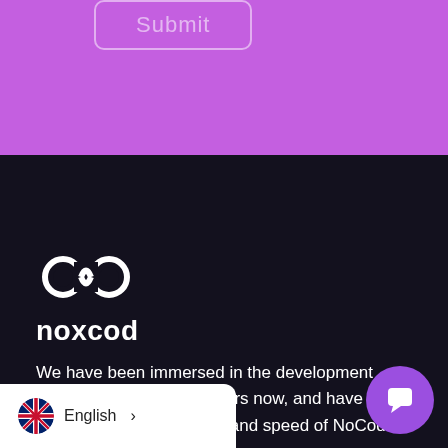[Figure (screenshot): Purple section background at top of page with a submit button outline area]
Submit
[Figure (logo): Noxcod infinity loop logo in white on dark background]
noxcod
We have been immersed in the development community for several years now, and have been able to identify the power and speed of NoCod development.
English >